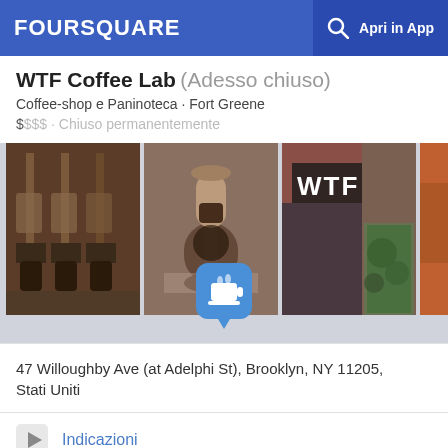FOURSQUARE  Apri in App
WTF Coffee Lab  (Adesso chiuso)
Coffee-shop e Paninoteca · Fort Greene
$$$$ · Chiuso permanentemente
[Figure (photo): Three photos of WTF Coffee Lab: coffee drip equipment, coffee siphon brewer, WTF sign on building exterior, and partial fourth photo]
47 Willoughby Ave (at Adelphi St), Brooklyn, NY 11205, Stati Uniti
Indicazioni
Mostra menu